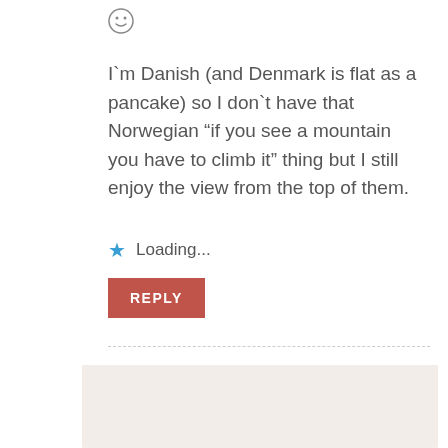[Figure (other): Smiley face emoji icon]
I`m Danish (and Denmark is flat as a pancake) so I don`t have that Norwegian “if you see a mountain you have to climb it” thing but I still enjoy the view from the top of them.
Loading...
REPLY
Leave a Reply